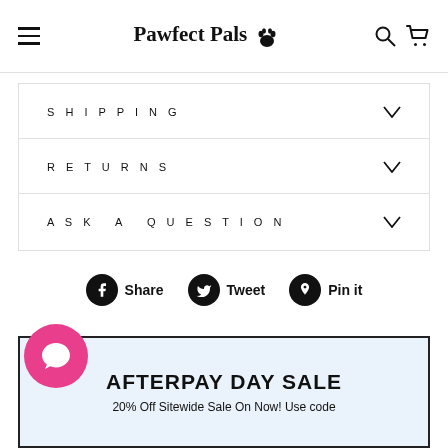Pawfect Pals 🐾
SHIPPING
RETURNS
ASK A QUESTION
Share  Tweet  Pin it
[Figure (other): Chat support bubble icon (pink circle)]
AFTERPAY DAY SALE
20% Off Sitewide Sale On Now! Use code